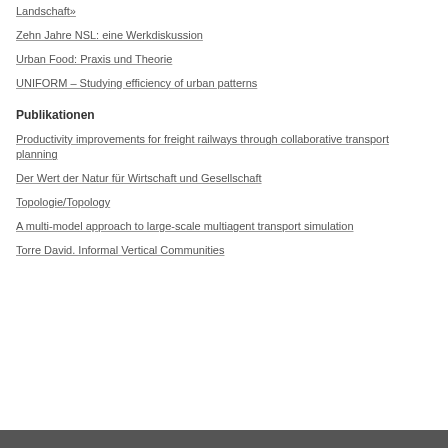Landschaft»
Zehn Jahre NSL: eine Werkdiskussion
Urban Food: Praxis und Theorie
UNIFORM – Studying efficiency of urban patterns
Publikationen
Productivity improvements for freight railways through collaborative transport planning
Der Wert der Natur für Wirtschaft und Gesellschaft
Topologie/Topology
A multi-model approach to large-scale multiagent transport simulation
Torre David. Informal Vertical Communities